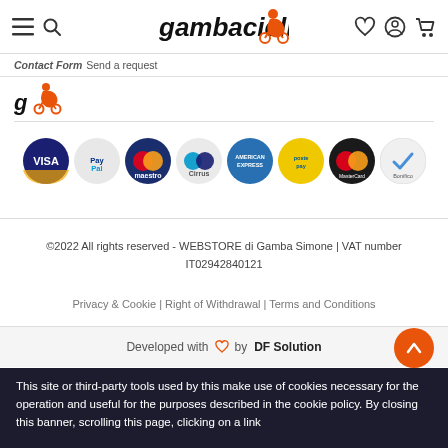gambacicli [logo with bicycle rider icon]
Contact Form Send a request
[Figure (logo): Gambacicli small logo - stylized G with bicycle rider in orange]
[Figure (infographic): Payment method icons: VISA, PayPal, Maestro, Cirrus, American Express, Postepay, MasterCard, Bonifico]
©2022 All rights reserved - WEBSTORE di Gamba Simone | VAT number IT02942840121
Privacy & Cookie | Right of Withdrawal | Terms and Conditions
Developed with ♥ by DF Solution
This site or third-party tools used by this make use of cookies necessary for the operation and useful for the purposes described in the cookie policy. By closing this banner, scrolling this page, clicking on a link